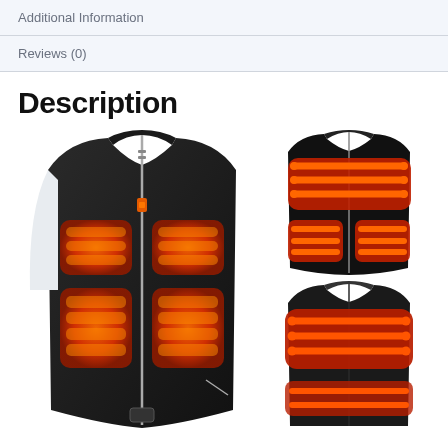Additional Information
Reviews (0)
Description
[Figure (photo): Black heated vest (front view) showing orange heating elements on the chest area with zipper closure]
[Figure (photo): Black heated vest (front view, diagram) showing red glowing heating element zones on chest and lower front areas]
[Figure (photo): Black heated vest (back view, diagram) showing red glowing heating element zones on upper back area]